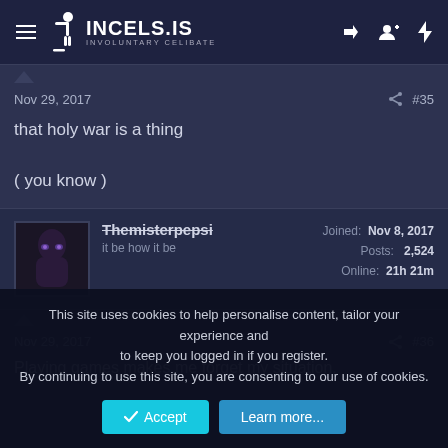INCELS.IS — INVOLUNTARY CELIBATE
Nov 29, 2017  #35
that holy war is a thing

( you know )
Themisterpepsi — it be how it be — Joined: Nov 8, 2017 — Posts: 2,524 — Online: 21h 21m
Nov 29, 2017  #36
Playing games makes me forget my situation.
This site uses cookies to help personalise content, tailor your experience and to keep you logged in if you register.
By continuing to use this site, you are consenting to our use of cookies.